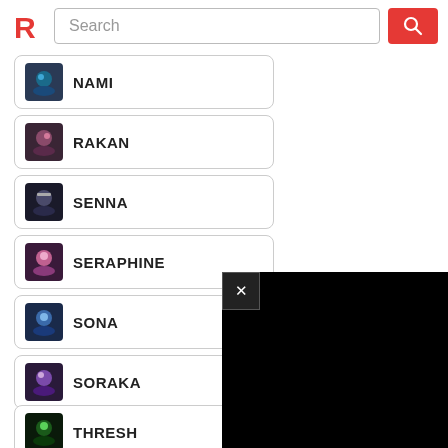[Figure (screenshot): Page header with red R logo, search bar with placeholder text 'Search', and red search button with magnifying glass icon]
NAMI
RAKAN
SENNA
SERAPHINE
SONA
SORAKA
THRESH
[Figure (screenshot): Black video/modal overlay with X close button in top-left corner]